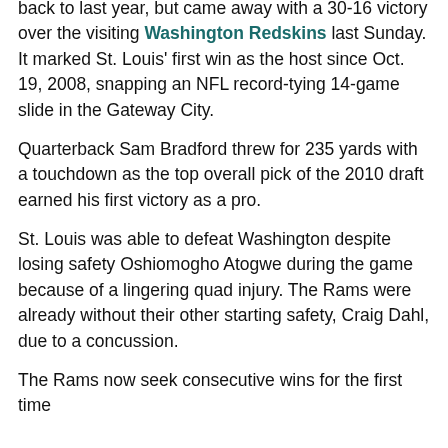back to last year, but came away with a 30-16 victory over the visiting Washington Redskins last Sunday. It marked St. Louis' first win as the host since Oct. 19, 2008, snapping an NFL record-tying 14-game slide in the Gateway City.
Quarterback Sam Bradford threw for 235 yards with a touchdown as the top overall pick of the 2010 draft earned his first victory as a pro.
St. Louis was able to defeat Washington despite losing safety Oshiomogho Atogwe during the game because of a lingering quad injury. The Rams were already without their other starting safety, Craig Dahl, due to a concussion.
The Rams now seek consecutive wins for the first time